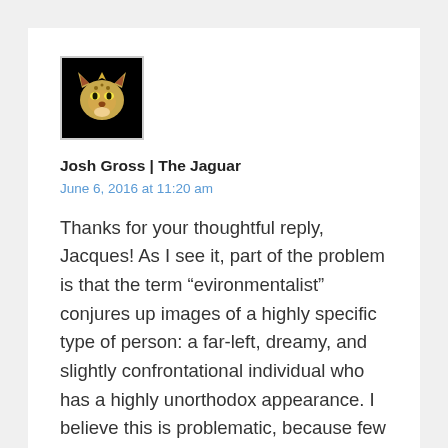[Figure (photo): Black square avatar image with a golden jaguar/panther face logo]
Josh Gross | The Jaguar
June 6, 2016 at 11:20 am
Thanks for your thoughtful reply, Jacques! As I see it, part of the problem is that the term “evironmentalist” conjures up images of a highly specific type of person: a far-left, dreamy, and slightly confrontational individual who has a highly unorthodox appearance. I believe this is problematic, because few people (at least few Americans) can relate to this